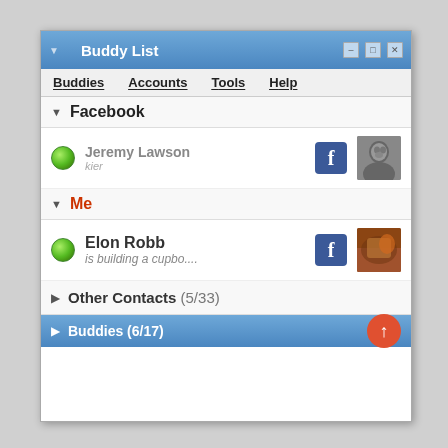[Figure (screenshot): Pidgin Buddy List application window showing Facebook and Me groups with contacts Jeremy Lawson and Elon Robb, plus Other Contacts (5/33) and Buddies (6/17) sections]
Buddy List
Buddies  Accounts  Tools  Help
Facebook
Jeremy Lawson
kier
Me
Elon Robb
is building a cupbo....
Other Contacts (5/33)
Buddies (6/17)